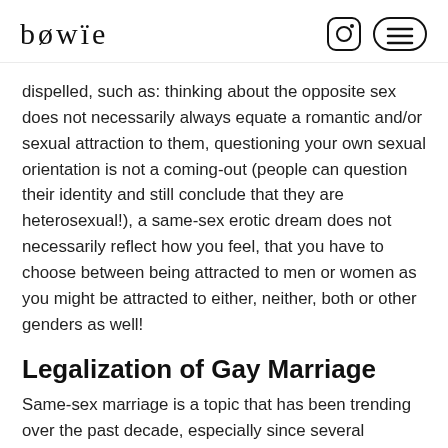bowie
dispelled, such as: thinking about the opposite sex does not necessarily always equate a romantic and/or sexual attraction to them, questioning your own sexual orientation is not a coming-out (people can question their identity and still conclude that they are heterosexual!), a same-sex erotic dream does not necessarily reflect how you feel, that you have to choose between being attracted to men or women as you might be attracted to either, neither, both or other genders as well!
Legalization of Gay Marriage
Same-sex marriage is a topic that has been trending over the past decade, especially since several countries have been voting and legalizing the union between sex-same couples. This is the result of years